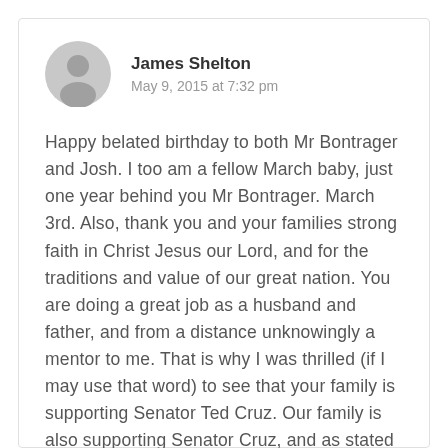[Figure (illustration): Gray circular avatar placeholder with a generic person silhouette icon]
James Shelton
May 9, 2015 at 7:32 pm
Happy belated birthday to both Mr Bontrager and Josh. I too am a fellow March baby, just one year behind you Mr Bontrager. March 3rd. Also, thank you and your families strong faith in Christ Jesus our Lord, and for the traditions and value of our great nation. You are doing a great job as a husband and father, and from a distance unknowingly a mentor to me. That is why I was thrilled (if I may use that word) to see that your family is supporting Senator Ted Cruz. Our family is also supporting Senator Cruz, and as stated in an earlier post, by the